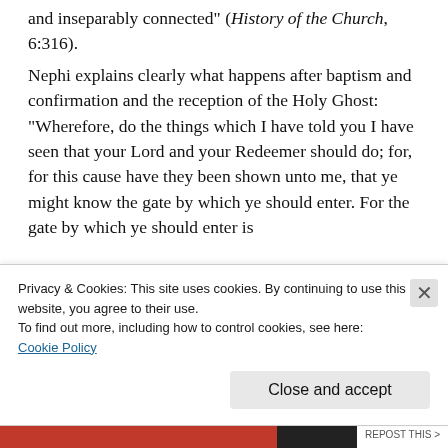and inseparably connected" (History of the Church, 6:316).

Nephi explains clearly what happens after baptism and confirmation and the reception of the Holy Ghost: “Wherefore, do the things which I have told you I have seen that your Lord and your Redeemer should do; for, for this cause have they been shown unto me, that ye might know the gate by which ye should enter. For the gate by which ye should enter is
Privacy & Cookies: This site uses cookies. By continuing to use this website, you agree to their use.
To find out more, including how to control cookies, see here:
Cookie Policy